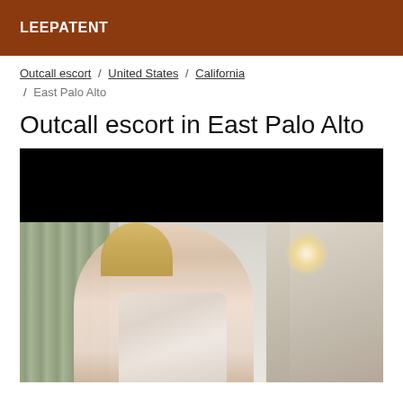LEEPATENT
Outcall escort / United States / California / East Palo Alto
Outcall escort in East Palo Alto
[Figure (photo): Photo of a young blonde woman in a light pink/silver dress, standing in a room with decorative curtains, posing with hand near chin. Upper portion of image is blacked out.]